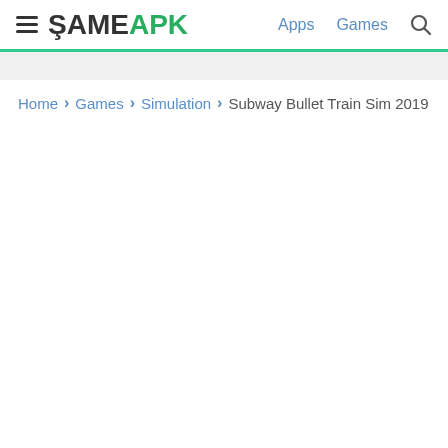ŞAMEAPK — Apps  Games
Home › Games › Simulation › Subway Bullet Train Sim 2019